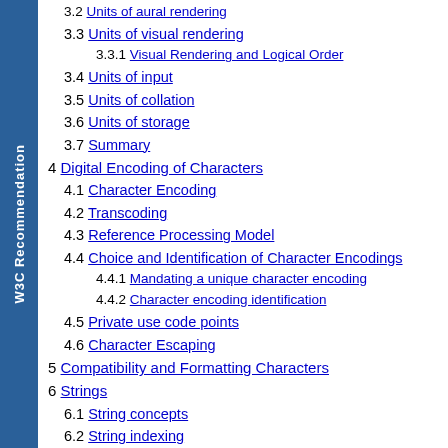3.2 Units of aural rendering
3.3 Units of visual rendering
3.3.1 Visual Rendering and Logical Order
3.4 Units of input
3.5 Units of collation
3.6 Units of storage
3.7 Summary
4 Digital Encoding of Characters
4.1 Character Encoding
4.2 Transcoding
4.3 Reference Processing Model
4.4 Choice and Identification of Character Encodings
4.4.1 Mandating a unique character encoding
4.4.2 Character encoding identification
4.5 Private use code points
4.6 Character Escaping
5 Compatibility and Formatting Characters
6 Strings
6.1 String concepts
6.2 String indexing
7 Referencing the Unicode Standard and ISO/IEC 10646
Appendices